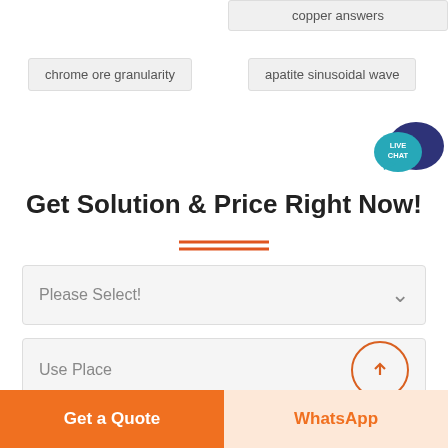copper answers
chrome ore granularity
apatite sinusoidal wave
[Figure (illustration): Live chat speech bubble icon with 'LIVE CHAT' text in teal/orange colors]
Get Solution & Price Right Now!
Please Select!
Use Place
Name
Get a Quote
WhatsApp